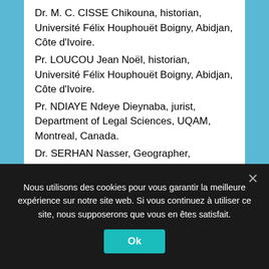Dr. M. C. CISSE Chikouna, historian, Université Félix Houphouët Boigny, Abidjan, Côte d'Ivoire.
Pr. LOUCOU Jean Noël, historian, Université Félix Houphouët Boigny, Abidjan, Côte d'Ivoire.
Pr. NDIAYE Ndeye Dieynaba, jurist, Department of Legal Sciences, UQAM, Montreal, Canada.
Dr. SERHAN Nasser, Geographer, Université Félix Houphouët Boigny, Abidjan, Ivory Coast.
Pr. PICHÉ Victor, Honorary Professor, University of Montreal, Montreal, Canada.
Dr. M. C. PARÉ Moussa, historian, Université Félix Houphouët Boigny, Abidjan, Ivory Coast.
Nous utilisons des cookies pour vous garantir la meilleure expérience sur notre site web. Si vous continuez à utiliser ce site, nous supposerons que vous en êtes satisfait.